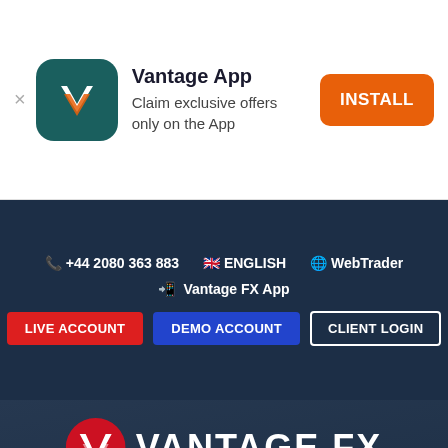[Figure (screenshot): App install banner with Vantage app icon (dark teal with V logo), app title 'Vantage App', subtitle 'Claim exclusive offers only on the App', and orange INSTALL button. Close X on left.]
+44 2080 363 883  🇬🇧 ENGLISH  🌐 WebTrader  📲 Vantage FX App
LIVE ACCOUNT  DEMO ACCOUNT  CLIENT LOGIN
[Figure (screenshot): Vantage FX trading dashboard screenshot showing metrics: 0, 0, 0.00%, 345, 669, $12,000.00, 20, 95, 66.90%, 142. With hamburger menu and search icon overlaid. Vantage FX logo centered at top of hero section.]
CPA AFFILIATE PARTNE